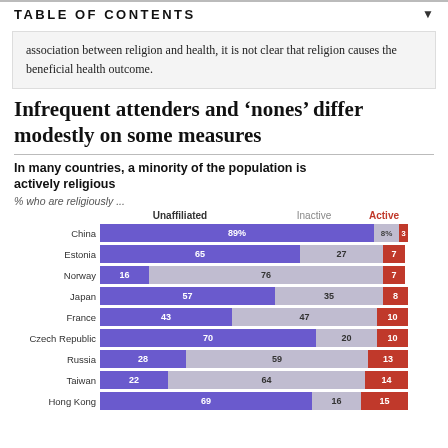TABLE OF CONTENTS
association between religion and health, it is not clear that religion causes the beneficial health outcome.
Infrequent attenders and ‘nones’ differ modestly on some measures
In many countries, a minority of the population is actively religious
[Figure (stacked-bar-chart): In many countries, a minority of the population is actively religious]